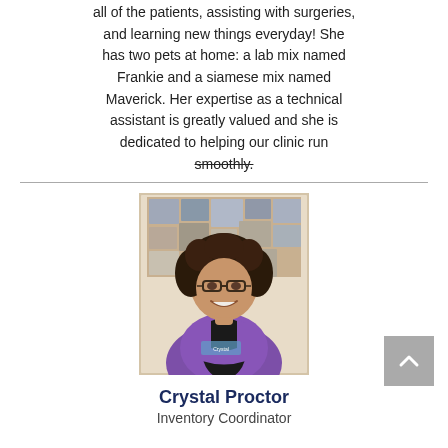all of the patients, assisting with surgeries, and learning new things everyday! She has two pets at home: a lab mix named Frankie and a siamese mix named Maverick. Her expertise as a technical assistant is greatly valued and she is dedicated to helping our clinic run smoothly.
[Figure (photo): Professional photo of Crystal Proctor wearing a purple medical scrub top, smiling, with curly dark hair and glasses, standing in front of a wall with animal photos.]
Crystal Proctor
Inventory Coordinator